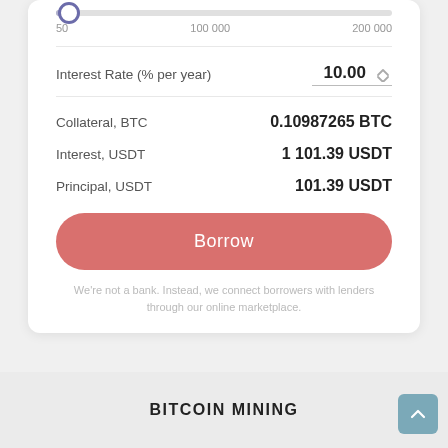[Figure (screenshot): Slider control showing a range from 50 to 200 000 with thumb at far left near minimum value]
50	100 000	200 000
Interest Rate (% per year)	10.00
Collateral, BTC	0.10987265 BTC
Interest, USDT	1 101.39 USDT
Principal, USDT	101.39 USDT
Borrow
We're not a bank. Instead, we connect borrowers with lenders through our online marketplace.
BITCOIN MINING